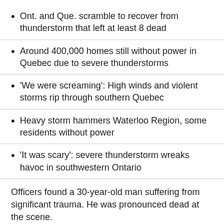Ont. and Que. scramble to recover from thunderstorm that left at least 8 dead
Around 400,000 homes still without power in Quebec due to severe thunderstorms
'We were screaming': High winds and violent storms rip through southern Quebec
Heavy storm hammers Waterloo Region, some residents without power
'It was scary': severe thunderstorm wreaks havoc in southwestern Ontario
Officers found a 30-year-old man suffering from significant trauma. He was pronounced dead at the scene.